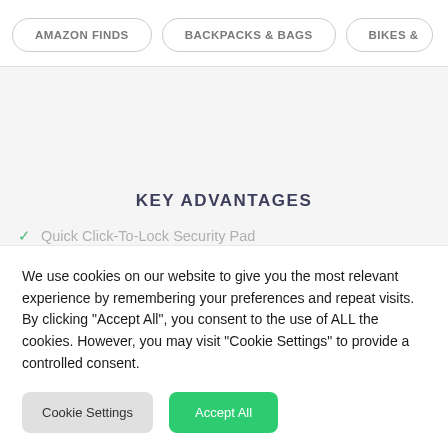AMAZON FINDS | BACKPACKS & BAGS | BIKES &...
KEY ADVANTAGES
Quick Click-To-Lock Security Pad
We use cookies on our website to give you the most relevant experience by remembering your preferences and repeat visits. By clicking "Accept All", you consent to the use of ALL the cookies. However, you may visit "Cookie Settings" to provide a controlled consent.
Cookie Settings | Accept All